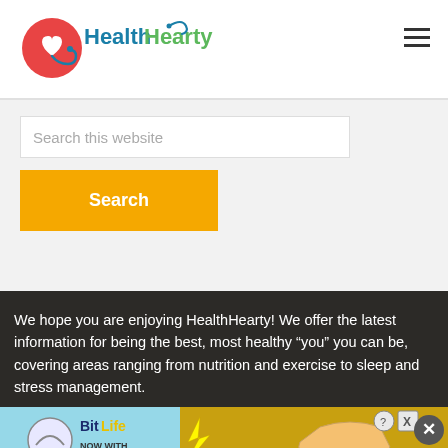[Figure (logo): HealthHearty logo with heart and stethoscope icon and green/blue styled text]
Search this website
Search
We hope you are enjoying HealthHearty! We offer the latest information for being the best, most healthy “you” you can be, covering areas ranging from nutrition and exercise to sleep and stress management.
[Figure (screenshot): BitLife ad banner - NOW WITH GOD MODE]